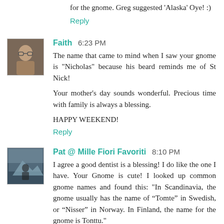for the gnome. Greg suggested 'Alaska' Oye! :)
Reply
Faith 6:23 PM
The name that came to mind when I saw your gnome is "Nicholas" because his beard reminds me of St Nick!

Your mother's day sounds wonderful. Precious time with family is always a blessing.

HAPPY WEEKEND!
Reply
Pat @ Mille Fiori Favoriti 8:10 PM
I agree a good dentist is a blessing! I do like the one I have. Your Gnome is cute! I looked up common gnome names and found this: "In Scandinavia, the gnome usually has the name of “Tomte” in Swedish, or “Nisser” in Norway. In Finland, the name for the gnome is Tonttu."